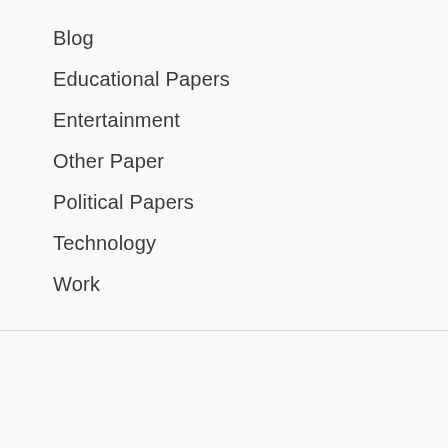Blog
Educational Papers
Entertainment
Other Paper
Political Papers
Technology
Work
LATEST POST
What is BSc and how it helps you